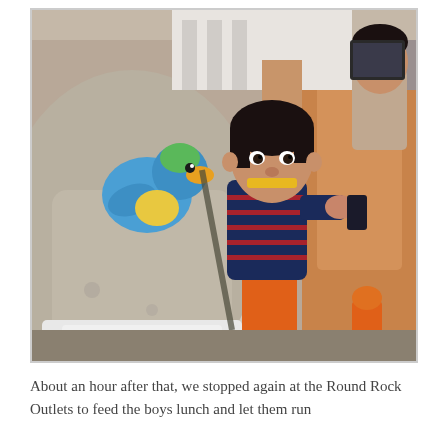[Figure (photo): Two young toddler boys inside a vehicle. One child in a navy and red striped shirt with orange pants stands near a car seat, holding what appears to be a remote control. A blue stuffed animal toy (duck) sits on top of a gray car seat. Another child is partially visible in the background. The interior of a minivan or SUV is visible.]
About an hour after that, we stopped again at the Round Rock Outlets to feed the boys lunch and let them run